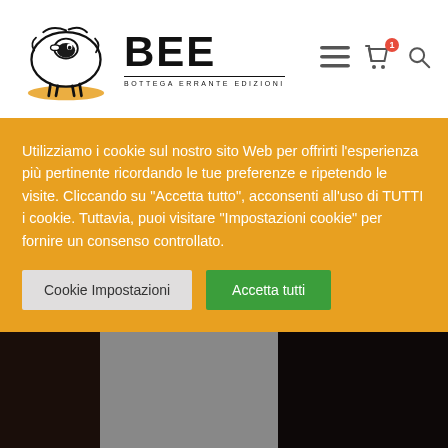[Figure (logo): BEE - Bottega Errante Edizioni logo: a hand-drawn sheep inside an oval, with BEE in bold letters and tagline BOTTEGA ERRANTE EDIZIONI]
Utilizziamo i cookie sul nostro sito Web per offrirti l'esperienza più pertinente ricordando le tue preferenze e ripetendo le visite. Cliccando su "Accetta tutto", acconsenti all'uso di TUTTI i cookie. Tuttavia, puoi visitare "Impostazioni cookie" per fornire un consenso controllato.
Cookie Impostazioni
Accetta tutti